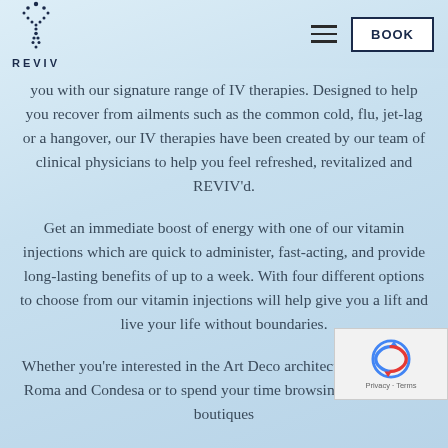REVIV — navigation header with logo, hamburger menu, and BOOK button
you with our signature range of IV therapies. Designed to help you recover from ailments such as the common cold, flu, jet-lag or a hangover, our IV therapies have been created by our team of clinical physicians to help you feel refreshed, revitalized and REVIV'd.
Get an immediate boost of energy with one of our vitamin injections which are quick to administer, fast-acting, and provide long-lasting benefits of up to a week. With four different options to choose from our vitamin injections will help give you a lift and live your life without boundaries.
Whether you're interested in the Art Deco architecture in Colonia Roma and Condesa or to spend your time browsing the high-end boutiques